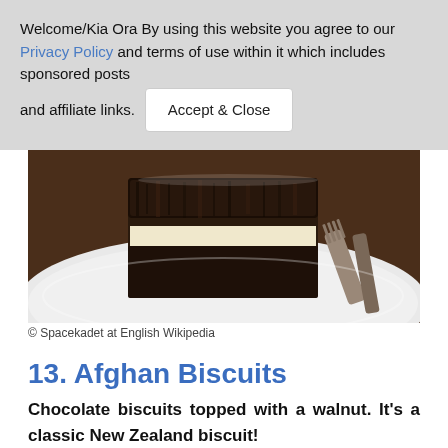Welcome/Kia Ora By using this website you agree to our Privacy Policy and terms of use within it which includes sponsored posts and affiliate links.
[Figure (photo): A chocolate coconut lamington or cake slice on a white plate with a fork, on a dark wooden table]
© Spacekadet at English Wikipedia
13. Afghan Biscuits
Chocolate biscuits topped with a walnut. It's a classic New Zealand biscuit!